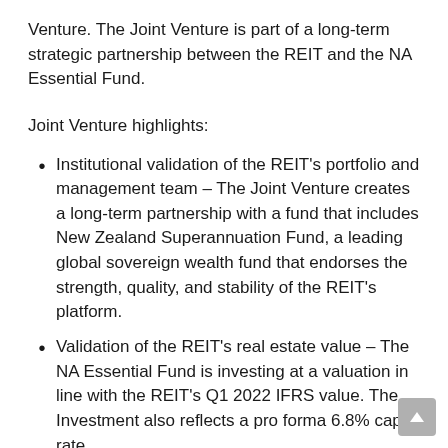Venture. The Joint Venture is part of a long-term strategic partnership between the REIT and the NA Essential Fund.
Joint Venture highlights:
Institutional validation of the REIT's portfolio and management team – The Joint Venture creates a long-term partnership with a fund that includes New Zealand Superannuation Fund, a leading global sovereign wealth fund that endorses the strength, quality, and stability of the REIT's platform.
Validation of the REIT's real estate value – The NA Essential Fund is investing at a valuation in line with the REIT's Q1 2022 IFRS value. The Investment also reflects a pro forma 6.8% cap rate